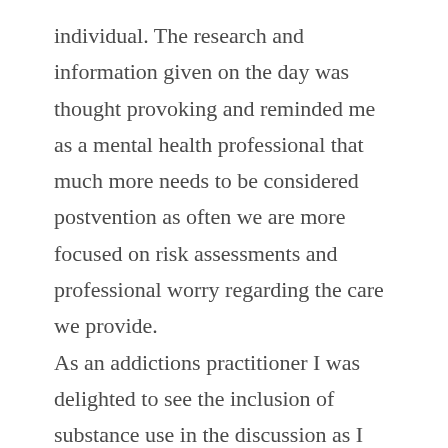individual. The research and information given on the day was thought provoking and reminded me as a mental health professional that much more needs to be considered postvention as often we are more focused on risk assessments and professional worry regarding the care we provide. As an addictions practitioner I was delighted to see the inclusion of substance use in the discussion as I am very much aware of the increasing risk associated with this and the impulsivity of individuals using during high risk times. I feel PARRS training promoted, and